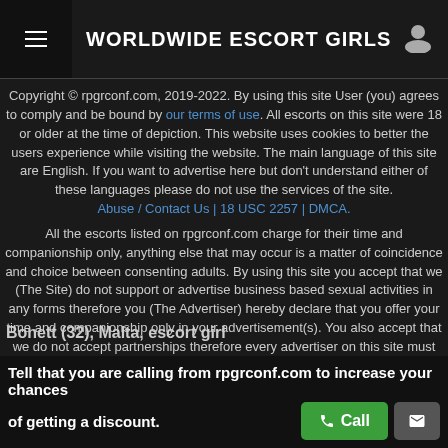WORLDWIDE ESCORT GIRLS
Copyright © rpgrconf.com, 2019-2022. By using this site User (you) agrees to comply and be bound by our terms of use. All escorts on this site were 18 or older at the time of depiction. This website uses cookies to better the users experience while visiting the website. The main language of this site are English. If you want to advertise here but don't understand either of these languages please do not use the services of the site. Abuse / Contact Us | 18 USC 2257 | DMCA.
All the escorts listed on rpgrconf.com charge for their time and companionship only, anything else that may occur is a matter of coincidence and choice between consenting adults. By using this site you accept that we (The Site) do not support or advertise business based sexual activities in any forms therefore you (The Advertiser) hereby declare that you offer your time and companionship only in your advertisement(s). You also accept that we do not accept partnerships therefore every advertiser on this site must be an independent individual.
Bonett (32), Malta, escort girl
Tell that you are calling from rpgrconf.com to increase your chances of getting a discount.